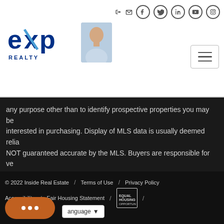[Figure (logo): eXp Realty logo with agent photo and navigation hamburger menu]
any purpose other than to identify prospective properties you may be interested in purchasing. Display of MLS data is usually deemed reliable but is NOT guaranteed accurate by the MLS. Buyers are responsible for verifying the accuracy of all information and should investigate the data themselves or retain   Show More...
© 2022 Inside Real Estate / Terms of Use / Privacy Policy / Accessibility / Fair Housing Statement / [EHO badge] /